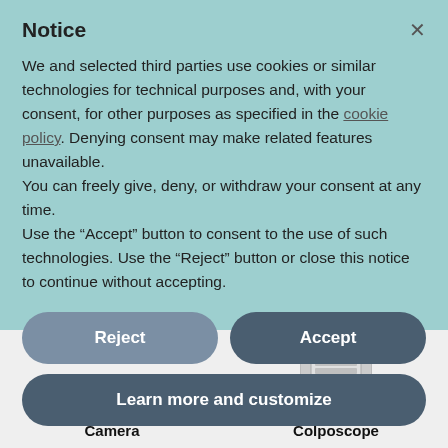Notice
We and selected third parties use cookies or similar technologies for technical purposes and, with your consent, for other purposes as specified in the cookie policy. Denying consent may make related features unavailable.
You can freely give, deny, or withdraw your consent at any time.
Use the “Accept” button to consent to the use of such technologies. Use the “Reject” button or close this notice to continue without accepting.
Reject
Accept
Learn more and customize
[Figure (photo): Partial image of a medical device (colposcope) at the bottom right]
Intraoral Dental Camera
Digital Video Colposcope